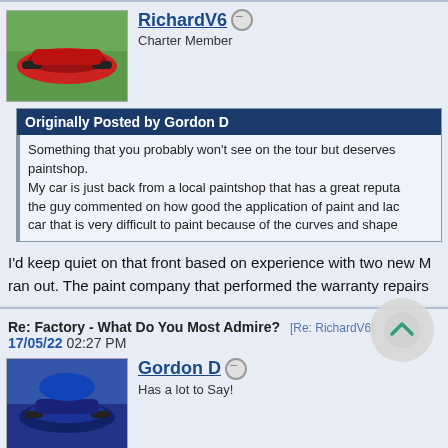RichardV6 — Charter Member
Originally Posted by Gordon D
Something that you probably won't see on the tour but deserves paintshop. My car is just back from a local paintshop that has a great reputa the guy commented on how good the application of paint and lac car that is very difficult to paint because of the curves and shape
I'd keep quiet on that front based on experience with two new M ran out. The paint company that performed the warranty repairs
Re: Factory - What Do You Most Admire? [Re: RichardV6] 17/05/22 02:27 PM
Gordon D — Has a lot to Say!
Originally Posted by RichardV6